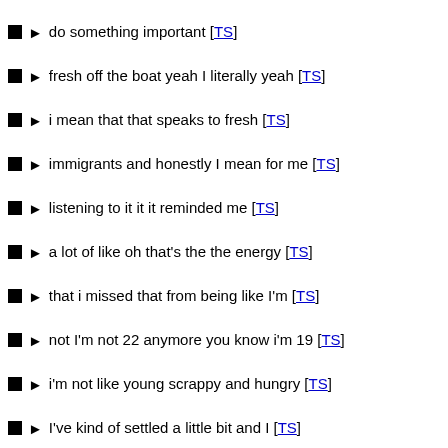do something important [TS]
fresh off the boat yeah I literally yeah [TS]
i mean that that speaks to fresh [TS]
immigrants and honestly I mean for me [TS]
listening to it it it reminded me [TS]
a lot of like oh that's the the energy [TS]
that i missed that from being like I'm [TS]
not I'm not 22 anymore you know i'm 19 [TS]
i'm not like young scrappy and hungry [TS]
I've kind of settled a little bit and I [TS]
have sort of a step and a stagnant life [TS]
but I have a settled a good life but I [TS]